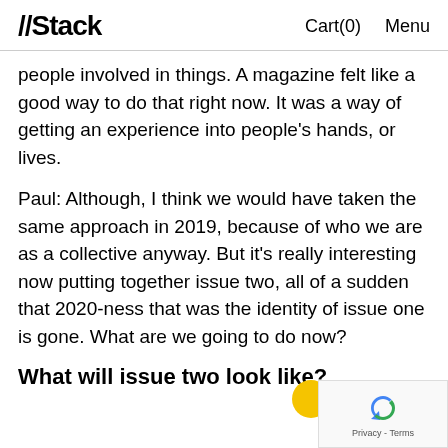//Stack   Cart(0)   Menu
people involved in things. A magazine felt like a good way to do that right now. It was a way of getting an experience into people’s hands, or lives.
Paul: Although, I think we would have taken the same approach in 2019, because of who we are as a collective anyway. But it’s really interesting now putting together issue two, all of a sudden that 2020-ness that was the identity of issue one is gone. What are we going to do now?
What will issue two look like?